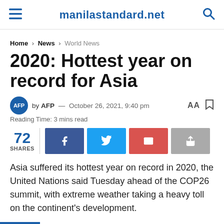manilastandard.net
Home > News > World News
2020: Hottest year on record for Asia
by AFP — October 26, 2021, 9:40 pm
Reading Time: 3 mins read
72 SHARES
Asia suffered its hottest year on record in 2020, the United Nations said Tuesday ahead of the COP26 summit, with extreme weather taking a heavy toll on the continent's development.